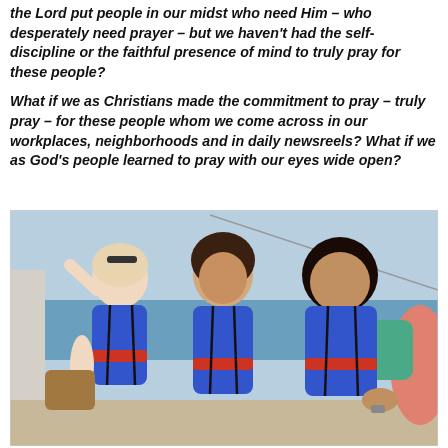the Lord put people in our midst who need Him – who desperately need prayer – but we haven't had the self-discipline or the faithful presence of mind to truly pray for these people?

What if we as Christians made the commitment to pray – truly pray – for these people whom we come across in our workplaces, neighborhoods and in daily newsreels? What if we as God's people learned to pray with our eyes wide open?
[Figure (photo): Three women wearing blue life jackets sitting together on what appears to be a boat. They are smiling and posing for the photo. The background shows water and sky.]